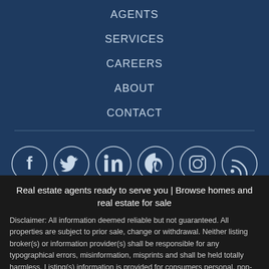AGENTS
SERVICES
CAREERS
ABOUT
CONTACT
[Figure (illustration): Row of six social media icons in circles: Facebook, Twitter, LinkedIn, Pinterest, Instagram, RSS feed]
Real estate agents ready to serve you | Browse homes and real estate for sale
Disclaimer: All information deemed reliable but not guaranteed. All properties are subject to prior sale, change or withdrawal. Neither listing broker(s) or information provider(s) shall be responsible for any typographical errors, misinformation, misprints and shall be held totally harmless. Listing(s) information is provided for consumers personal, non-